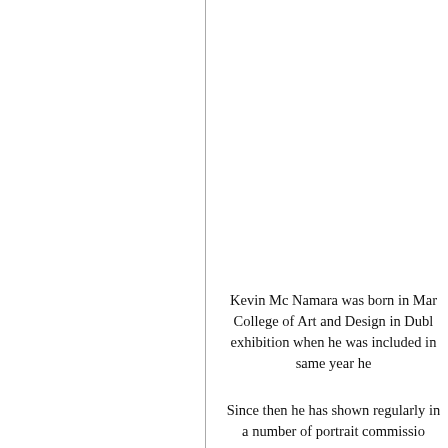Kevin Mc Namara was born in Ma... College of Art and Design in Dubl... exhibition when he was included in ... same year he
Since then he has shown regularly in... a number of portrait commissio...
Artists who have influenced him a...
Besides easel painting, Mc Namar... McNamara subject matter is main... atmosphere and mood of a scene a... impressionistic approach, the colo... This, combined with a consciousnes... scenes that
Typical of Mc Namara method of wo...